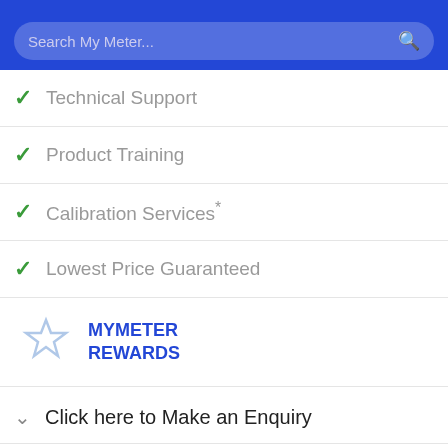Search My Meter...
Technical Support
Product Training
Calibration Services*
Lowest Price Guaranteed
MYMETER REWARDS
Click here to Make an Enquiry
[Figure (logo): REED logo in yellow text on dark blue background]
Check